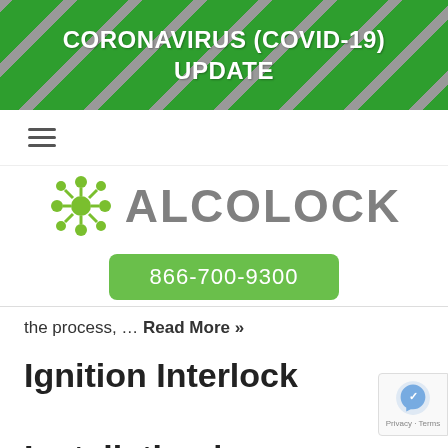CORONAVIRUS (COVID-19) UPDATE
[Figure (logo): Alcolock logo with green molecular icon and gray ALCOLOCK wordmark, plus green phone button showing 866-700-9300]
the process, … Read More »
Ignition Interlock Installation | Wilmington, NC